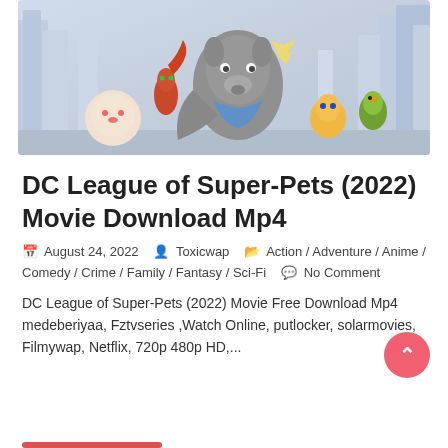[Figure (illustration): Animated movie poster/banner for DC League of Super-Pets (2022) showing animated super-hero pets including a dog with a blue bandana, a cat, a squirrel-like character, a fox, and a parrot against a futuristic city skyline background.]
DC League of Super-Pets (2022) Movie Download Mp4
August 24, 2022  Toxicwap  Action / Adventure / Anime / Comedy / Crime / Family / Fantasy / Sci-Fi  No Comment
DC League of Super-Pets (2022) Movie Free Download Mp4 medeberiyaa, Fztvseries ,Watch Online, putlocker, solarmovies, Filmywap, Netflix, 720p 480p HD,...